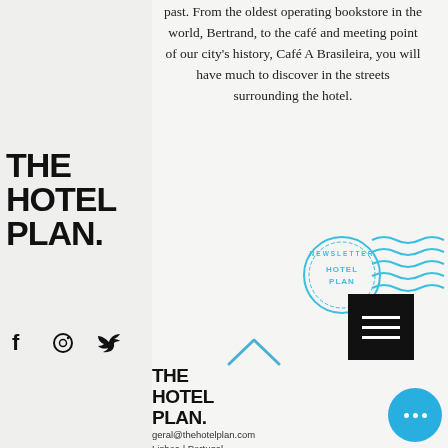past. From the oldest operating bookstore in the world, Bertrand, to the café and meeting point of our city's history, Café A Brasileira, you will have much to discover in the streets surrounding the hotel.
[Figure (logo): THE HOTEL PLAN. logo in large bold black text]
[Figure (illustration): Circular stamp/postmark in blue reading NEWSLETTER HOTEL PLAN with wavy postal lines]
[Figure (illustration): Social media icons: Facebook (f), Instagram (circle), Twitter (bird)]
[Figure (illustration): Black square hamburger menu button with three white horizontal lines]
[Figure (illustration): Blue upward-pointing chevron/arrow]
[Figure (logo): THE HOTEL PLAN. footer logo in bold black text]
geral@thehotelplan.com
Lisboa | Portugal
[Figure (illustration): Blue circular chat/more button with three white dots]